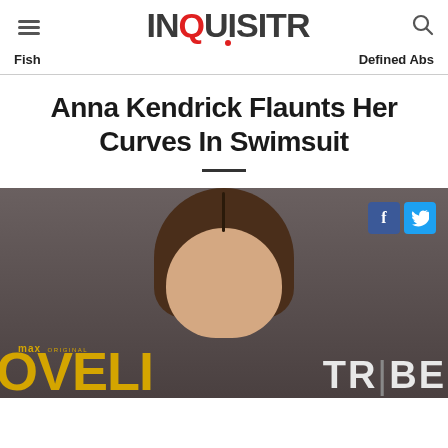INQUISITR
Fish   Defined Abs
Anna Kendrick Flaunts Her Curves In Swimsuit
[Figure (photo): Photo of Anna Kendrick at a Max Original / Lovell event, with social share buttons (Facebook and Twitter) overlaid in the top right, and event branding text (max ORIGINAL, OVELL, TRIBE) visible in the image.]